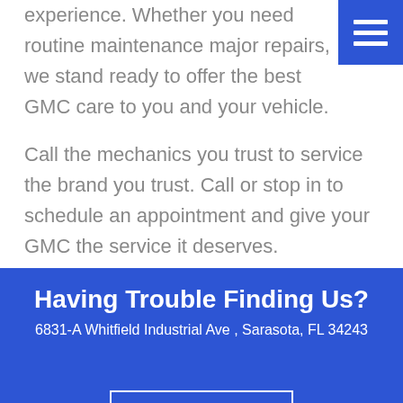[Figure (other): Blue hamburger menu button in top-right corner with three white horizontal lines]
experience. Whether you need routine maintenance major repairs, we stand ready to offer the best GMC care to you and your vehicle.
Call the mechanics you trust to service the brand you trust. Call or stop in to schedule an appointment and give your GMC the service it deserves.
Having Trouble Finding Us?
6831-A Whitfield Industrial Ave , Sarasota, FL 34243